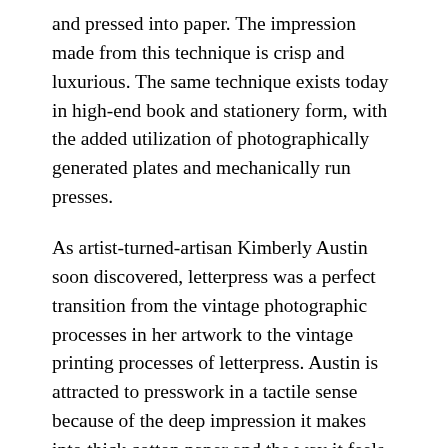and pressed into paper. The impression made from this technique is crisp and luxurious. The same technique exists today in high-end book and stationery form, with the added utilization of photographically generated plates and mechanically run presses.
As artist-turned-artisan Kimberly Austin soon discovered, letterpress was a perfect transition from the vintage photographic processes in her artwork to the vintage printing processes of letterpress. Austin is attracted to presswork in a tactile sense because of the deep impression it makes into thick cotton paper and the way it feels in your hand. It’s this artistry and technique that she brings to her custom work for wedding ephemera.